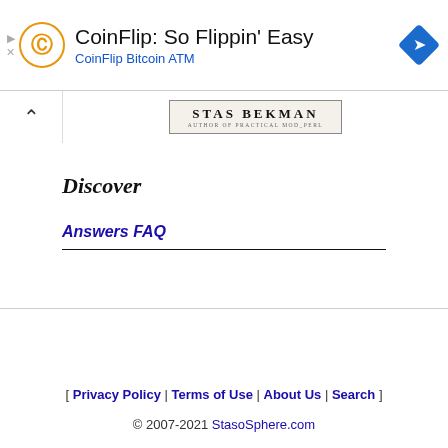[Figure (screenshot): Advertisement banner for CoinFlip Bitcoin ATM with logo, title 'CoinFlip: So Flippin' Easy', subtitle 'CoinFlip Bitcoin ATM', and a blue diamond navigation icon on the right.]
[Figure (logo): Stas Bekman website logo/banner with name 'STAS BEKMAN' and tagline in serif font with decorative border.]
Discover
Answers FAQ
[ Privacy Policy | Terms of Use | About Us | Search ]
© 2007-2021 StasoSphere.com